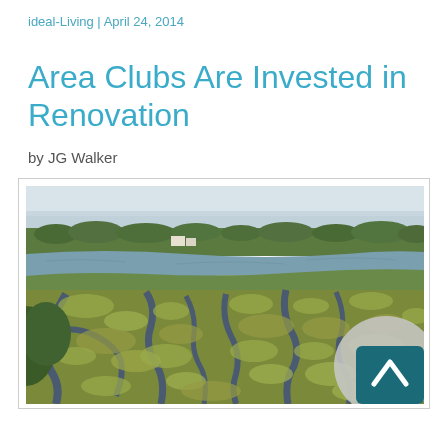ideal-Living | April 24, 2014
Area Clubs Are Invested in Renovation
by JG Walker
[Figure (photo): Aerial photograph of a coastal marsh and wetlands landscape with a river, dense tree line, and patterned salt marsh grasses in the foreground]